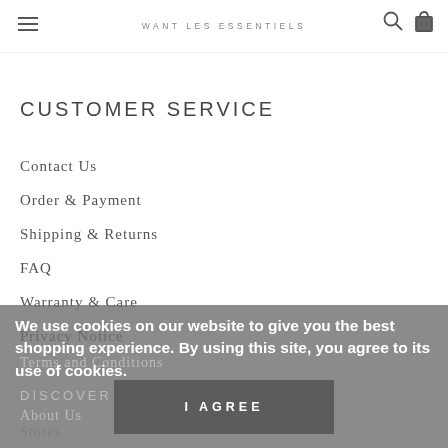WANT LES ESSENTIELS
CUSTOMER SERVICE
Contact Us
Order & Payment
Shipping & Returns
FAQ
Warranty & Care
Privacy Notice
Terms and Conditions
DISCOVER
About Us
Stores
Stockists
We use cookies on our website to give you the best shopping experience. By using this site, you agree to its use of cookies.
I AGREE